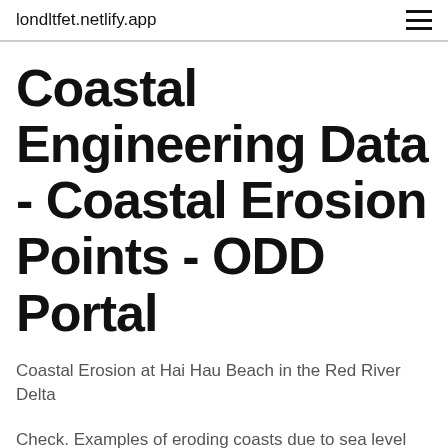londltfet.netlify.app
Coastal Engineering Data - Coastal Erosion Points - ODD Portal
Coastal Erosion at Hai Hau Beach in the Red River Delta
Check. Examples of eroding coasts due to sea level rise are: Mississippi delta coast,. USA; Egypt coast,